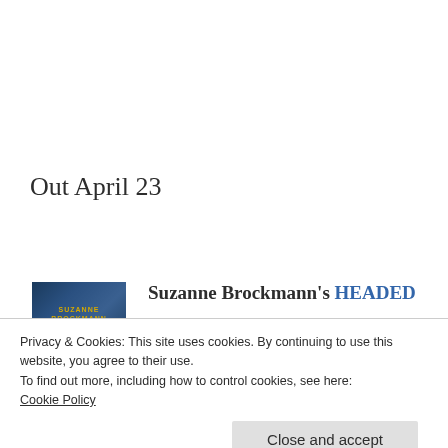Out April 23
[Figure (photo): Book cover for Suzanne Brockmann with blue tones and gold text]
Suzanne Brockmann's HEADED
Privacy & Cookies: This site uses cookies. By continuing to use this website, you agree to their use.
To find out more, including how to control cookies, see here:
Cookie Policy
Close and accept
previously-published and new short stories).